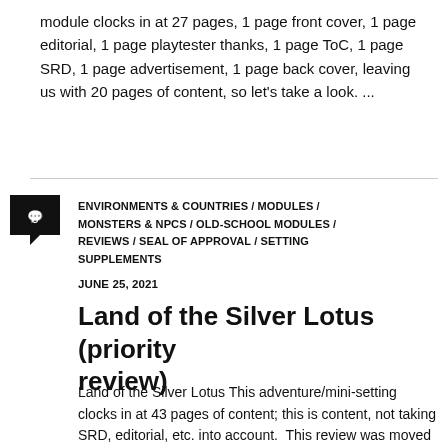module clocks in at 27 pages, 1 page front cover, 1 page editorial, 1 page playtester thanks, 1 page ToC, 1 page SRD, 1 page advertisement, 1 page back cover, leaving us with 20 pages of content, so let's take a look.  ...
ENVIRONMENTS & COUNTRIES / MODULES / MONSTERS & NPCS / OLD-SCHOOL MODULES / REVIEWS / SEAL OF APPROVAL / SETTING SUPPLEMENTS
JUNE 25, 2021
Land of the Silver Lotus (priority review)
Land of the Silver Lotus This adventure/mini-setting clocks in at 43 pages of content; this is content, not taking SRD, editorial, etc. into account.  This review was moved up in my reviewing queue as a prioritized